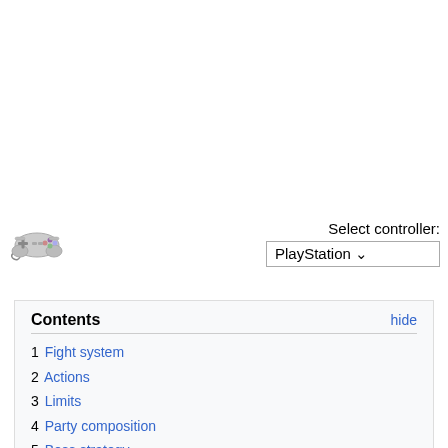[Figure (illustration): Game controller icon (SNES-style gamepad, small emoji-style illustration)]
Select controller:
PlayStation ▾
Contents
1 Fight system
2 Actions
3 Limits
4 Party composition
5 Boss strategy
6 General Tips